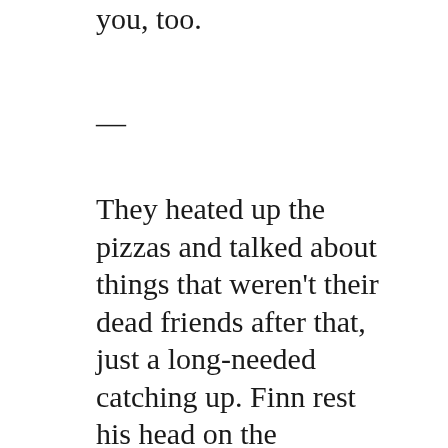you, too.
—
They heated up the pizzas and talked about things that weren't their dead friends after that, just a long-needed catching up. Finn rest his head on the